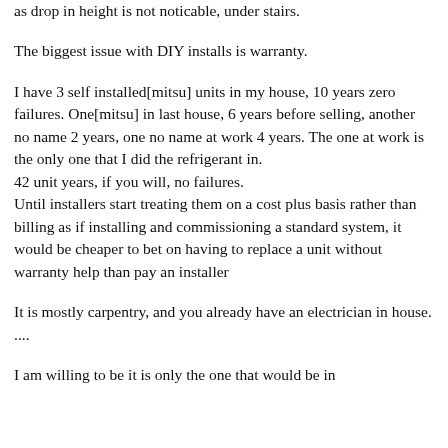as drop in height is not noticable, under stairs.
The biggest issue with DIY installs is warranty.
I have 3 self installed[mitsu] units in my house, 10 years zero failures. One[mitsu] in last house, 6 years before selling, another no name 2 years, one no name at work 4 years. The one at work is the only one that I did the refrigerant in.
42 unit years, if you will, no failures.
Until installers start treating them on a cost plus basis rather than billing as if installing and commissioning a standard system, it would be cheaper to bet on having to replace a unit without warranty help than pay an installer
It is mostly carpentry, and you already have an electrician in house. ....
I am willing to be it is only the one that would be in